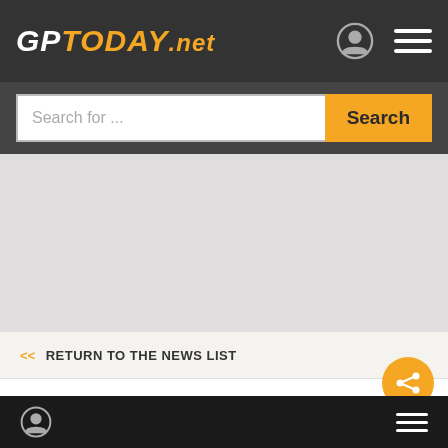GPTODAY.net
Search for ...
Search
[Figure (other): Gray advertisement or content placeholder area]
<< RETURN TO THE NEWS LIST
Qualifying: Shwartzman edges closer to
Bottom navigation bar with user icon and hamburger menu